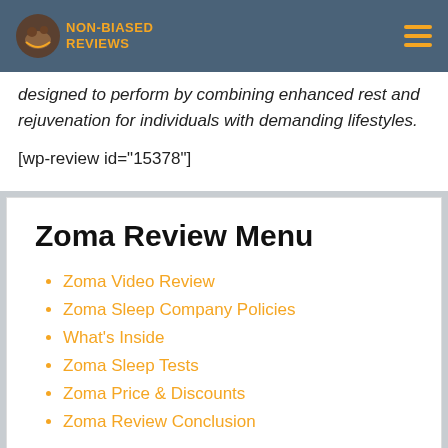NON-BIASED REVIEWS
designed to perform by combining enhanced rest and rejuvenation for individuals with demanding lifestyles.
[wp-review id="15378"]
Zoma Review Menu
Zoma Video Review
Zoma Sleep Company Policies
What's Inside
Zoma Sleep Tests
Zoma Price & Discounts
Zoma Review Conclusion